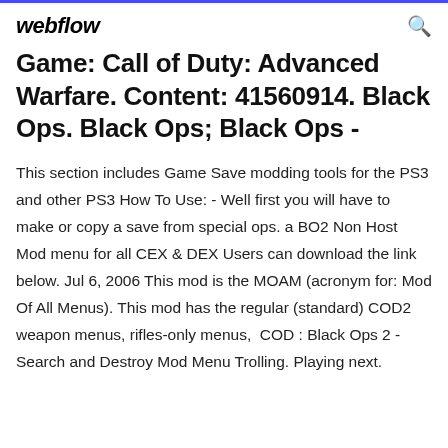webflow
Game: Call of Duty: Advanced Warfare. Content: 41560914. Black Ops. Black Ops; Black Ops -
This section includes Game Save modding tools for the PS3 and other PS3 How To Use: - Well first you will have to make or copy a save from special ops. a BO2 Non Host Mod menu for all CEX & DEX Users can download the link below. Jul 6, 2006 This mod is the MOAM (acronym for: Mod Of All Menus). This mod has the regular (standard) COD2 weapon menus, rifles-only menus,  COD : Black Ops 2 - Search and Destroy Mod Menu Trolling. Playing next.